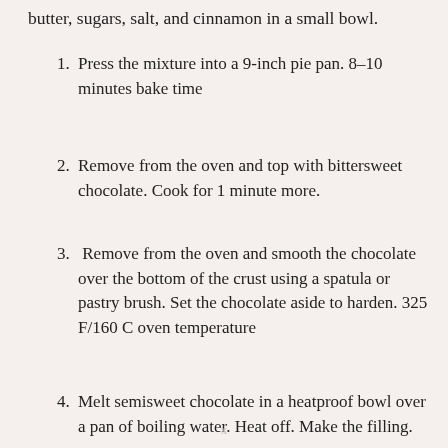butter, sugars, salt, and cinnamon in a small bowl.
Press the mixture into a 9-inch pie pan. 8–10 minutes bake time
Remove from the oven and top with bittersweet chocolate. Cook for 1 minute more.
Remove from the oven and smooth the chocolate over the bottom of the crust using a spatula or pastry brush. Set the chocolate aside to harden. 325 F/160 C oven temperature
Melt semisweet chocolate in a heatproof bowl over a pan of boiling water. Heat off. Make the filling.
Mix the pumpkin, evaporated milk, brown sugar, eggs, cornstarch, vanilla, salt, cinnamon, ginger, nutmeg, and cloves in a big basin. Whisk in 1/3 of the
x